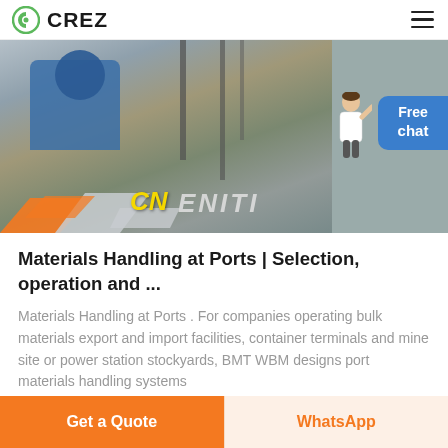CREZ
[Figure (photo): Industrial machinery at a port or construction site, showing a large blue crusher/mill machine, scaffolding, and containers. Overlaid with CN ENITI logo text and orange geometric shapes.]
Materials Handling at Ports | Selection, operation and ...
Materials Handling at Ports . For companies operating bulk materials export and import facilities, container terminals and mine site or power station stockyards, BMT WBM designs port materials handling systems
Get a Quote
WhatsApp